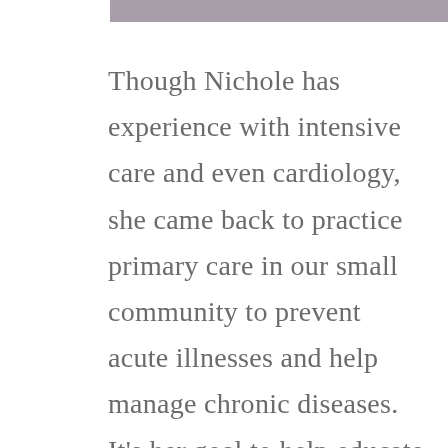Though Nichole has experience with intensive care and even cardiology, she came back to practice primary care in our small community to prevent acute illnesses and help manage chronic diseases. It's her goal to help educate patients to improve their quality of life.